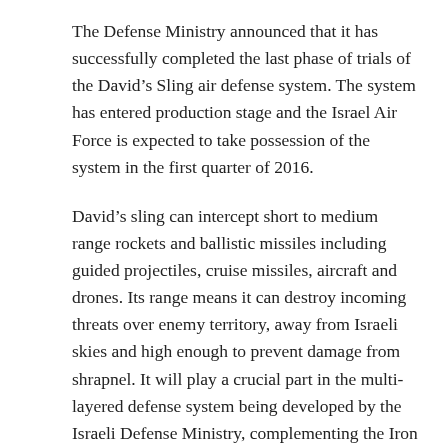The Defense Ministry announced that it has successfully completed the last phase of trials of the David's Sling air defense system. The system has entered production stage and the Israel Air Force is expected to take possession of the system in the first quarter of 2016.
David's sling can intercept short to medium range rockets and ballistic missiles including guided projectiles, cruise missiles, aircraft and drones. Its range means it can destroy incoming threats over enemy territory, away from Israeli skies and high enough to prevent damage from shrapnel. It will play a crucial part in the multi-layered defense system being developed by the Israeli Defense Ministry, complementing the Iron Dome (which defends against short range) and the Arrow 3 defense batteries (which defends against long range missiles).
Shlomo S., head of the David's Sling program said, “This is the first time technology of this kind has been used. It is on the verge of science fiction.”